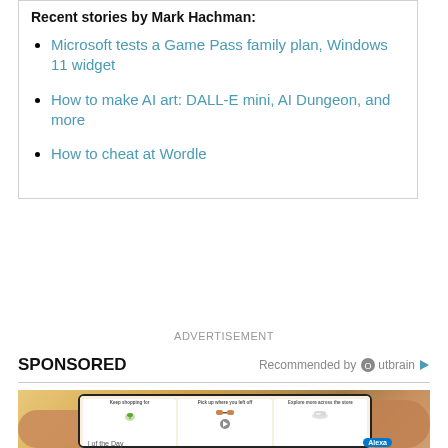Recent stories by Mark Hachman:
Microsoft tests a Game Pass family plan, Windows 11 widget
How to make AI art: DALL-E mini, AI Dungeon, and more
How to cheat at Wordle
ADVERTISEMENT
SPONSORED
Recommended by Outbrain
[Figure (photo): Sponsored advertisement image showing a hand holding a smartphone displaying a shopping app with product cards and a play button, partially showing text 'of the Day' and 'Alexa' at the bottom]